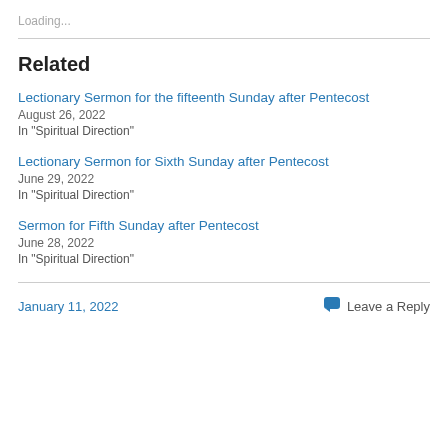Loading...
Related
Lectionary Sermon for the fifteenth Sunday after Pentecost
August 26, 2022
In "Spiritual Direction"
Lectionary Sermon for Sixth Sunday after Pentecost
June 29, 2022
In "Spiritual Direction"
Sermon for Fifth Sunday after Pentecost
June 28, 2022
In "Spiritual Direction"
January 11, 2022   Leave a Reply